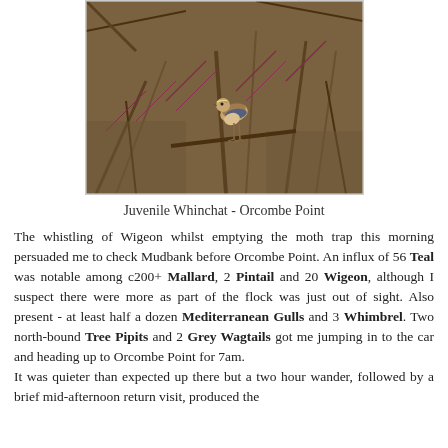[Figure (photo): A juvenile Whinchat bird perched on bare branches and twigs in brownish scrubby vegetation at Orcombe Point]
Juvenile Whinchat - Orcombe Point
The whistling of Wigeon whilst emptying the moth trap this morning persuaded me to check Mudbank before Orcombe Point. An influx of 56 Teal was notable among c200+ Mallard, 2 Pintail and 20 Wigeon, although I suspect there were more as part of the flock was just out of sight. Also present - at least half a dozen Mediterranean Gulls and 3 Whimbrel. Two north-bound Tree Pipits and 2 Grey Wagtails got me jumping in to the car and heading up to Orcombe Point for 7am.
It was quieter than expected up there but a two hour wander, followed by a brief mid-afternoon return visit, produced the